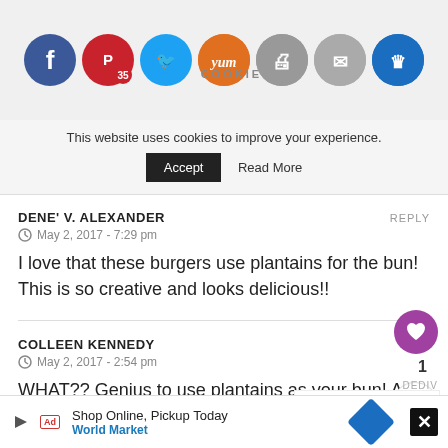[Figure (screenshot): Social media share bar with icons: Facebook (blue), Pinterest (red, badge 35), Twitter (light blue), Yummly (orange), Print (gray), Mail (gray), Crown (blue). Cookie/Spiffy Cookie logo watermark below.]
This website uses cookies to improve your experience.
Accept   Read More
DENE' V. ALEXANDER
REPLY
May 2, 2017 - 7:29 pm
I love that these burgers use plantains for the bun! This is so creative and looks delicious!!
COLLEEN KENNEDY
DEDIV
WHAT'S NEXT → BBQ Brisket Burgers
May 2, 2017 - 2:54 pm
WHAT?? Genius to use plantains as your bun! And
[Figure (screenshot): Bottom advertisement bar: Shop Online, Pickup Today - World Market, with blue diamond arrow icon]